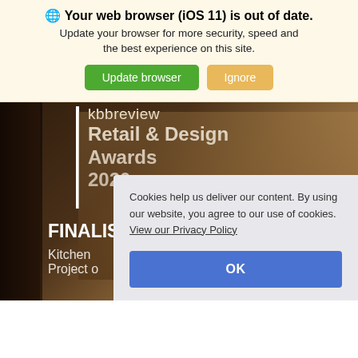🌐 Your web browser (iOS 11) is out of date. Update your browser for more security, speed and the best experience on this site.
[Figure (screenshot): Screenshot of a website showing a browser update banner with 'Update browser' (green) and 'Ignore' (tan) buttons over a dark kitchen background image showing kbbreview Retail & Design Awards 2020 FINALIST text, with a cookie consent popup overlay in the lower right.]
Cookies help us deliver our content. By using our website, you agree to our use of cookies. View our Privacy Policy